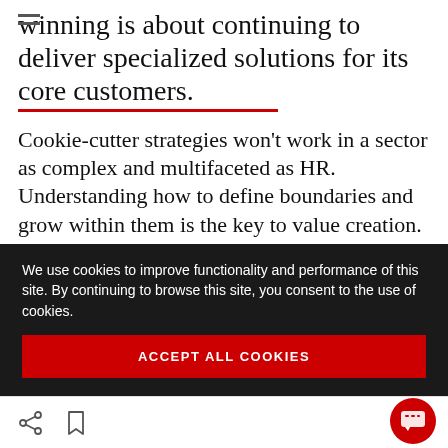winning is about continuing to deliver specialized solutions for its core customers.
Cookie-cutter strategies won't work in a sector as complex and multifaceted as HR. Understanding how to define boundaries and grow within them is the key to value creation.
The DevOps paradigm shift
We use cookies to improve functionality and performance of this site. By continuing to browse this site, you consent to the use of cookies.
ACCEPT ALL COOKIES